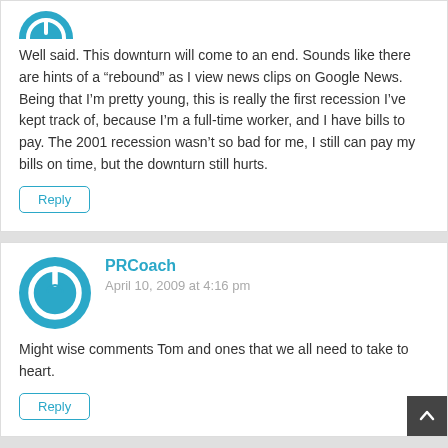Well said. This downturn will come to an end. Sounds like there are hints of a “rebound” as I view news clips on Google News. Being that I’m pretty young, this is really the first recession I’ve kept track of, because I’m a full-time worker, and I have bills to pay. The 2001 recession wasn’t so bad for me, I still can pay my bills on time, but the downturn still hurts.
Reply
[Figure (illustration): Blue circular avatar with a power button icon (white circle with a vertical line at top)]
PRCoach
April 10, 2009 at 4:16 pm
Might wise comments Tom and ones that we all need to take to heart.
Reply